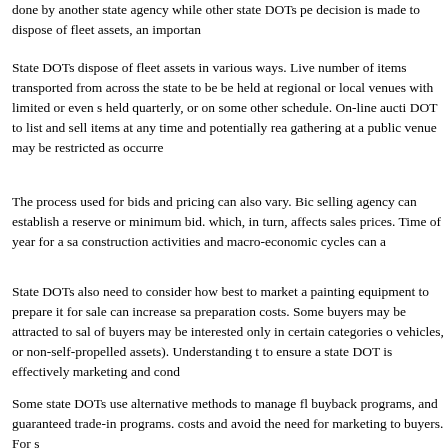done by another state agency while other state DOTs pe decision is made to dispose of fleet assets, an importan
State DOTs dispose of fleet assets in various ways. Live number of items transported from across the state to be be held at regional or local venues with limited or even s held quarterly, or on some other schedule. On-line aucti DOT to list and sell items at any time and potentially rea gathering at a public venue may be restricted as occurre
The process used for bids and pricing can also vary. Bic selling agency can establish a reserve or minimum bid. which, in turn, affects sales prices. Time of year for a sa construction activities and macro-economic cycles can a
State DOTs also need to consider how best to market a painting equipment to prepare it for sale can increase sa preparation costs. Some buyers may be attracted to sal of buyers may be interested only in certain categories o vehicles, or non-self-propelled assets). Understanding t to ensure a state DOT is effectively marketing and cond
Some state DOTs use alternative methods to manage fl buyback programs, and guaranteed trade-in programs. costs and avoid the need for marketing to buyers. For s